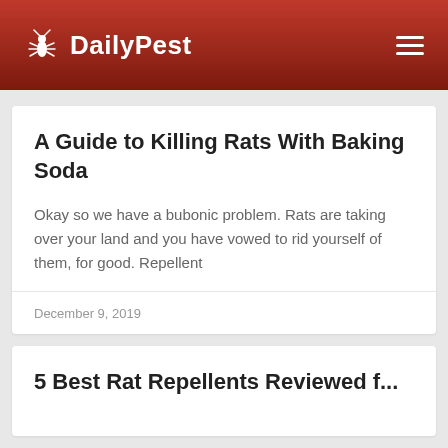DailyPest
A Guide to Killing Rats With Baking Soda
Okay so we have a bubonic problem. Rats are taking over your land and you have vowed to rid yourself of them, for good. Repellent
December 9, 2019
5 Best Rat Repellents Reviewed f...